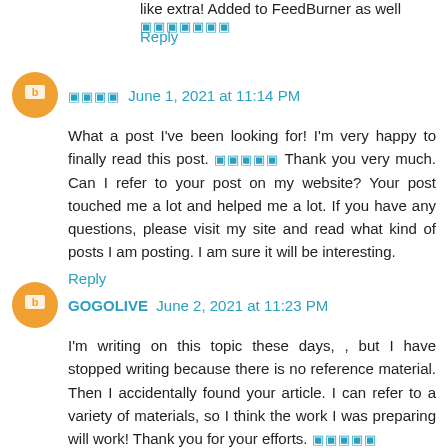like extra! Added to FeedBurner as well 🔲🔲🔲🔲🔲🔲🔲
Reply
🔲🔲🔲🔲  June 1, 2021 at 11:14 PM
What a post I've been looking for! I'm very happy to finally read this post. 🔲🔲🔲🔲🔲 Thank you very much. Can I refer to your post on my website? Your post touched me a lot and helped me a lot. If you have any questions, please visit my site and read what kind of posts I am posting. I am sure it will be interesting.
Reply
GOGOLIVE  June 2, 2021 at 11:23 PM
I'm writing on this topic these days, , but I have stopped writing because there is no reference material. Then I accidentally found your article. I can refer to a variety of materials, so I think the work I was preparing will work! Thank you for your efforts. 🔲🔲🔲🔲🔲